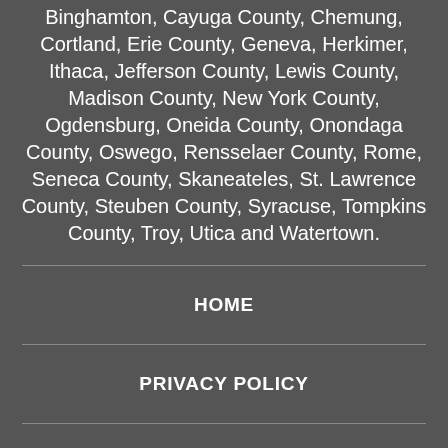Binghamton, Cayuga County, Chemung, Cortland, Erie County, Geneva, Herkimer, Ithaca, Jefferson County, Lewis County, Madison County, New York County, Ogdensburg, Oneida County, Onondaga County, Oswego, Rensselaer County, Rome, Seneca County, Skaneateles, St. Lawrence County, Steuben County, Syracuse, Tompkins County, Troy, Utica and Watertown.
HOME
PRIVACY POLICY
DISCLAIMER
TERMS OF SERVICE